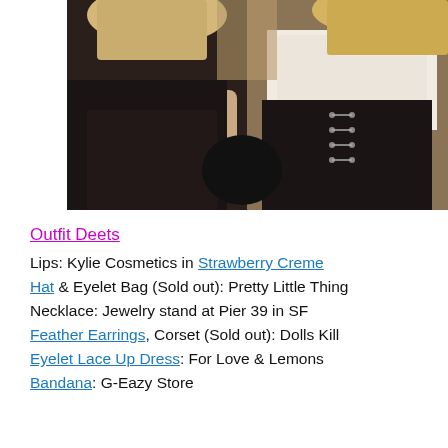[Figure (photo): Two young women posing together. One on the left wearing a black top with midriff showing, the other on the right wearing a white eyelet top and a black corset/lace-up piece. Both have blonde hair. Photo taken at close range, selfie style.]
Outfit Deets
Lips: Kylie Cosmetics in Strawberry Creme Hat & Eyelet Bag (Sold out): Pretty Little Thing
Necklace: Jewelry stand at Pier 39 in SF
Feather Earrings, Corset (Sold out): Dolls Kill
Eyelet Lace Up Dress: For Love & Lemons
Bandana: G-Eazy Store